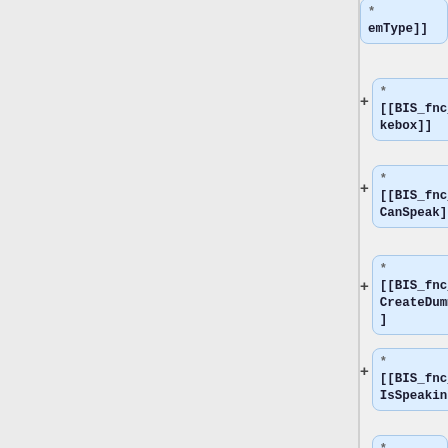* [[BIS_fnc_jukebox]]
* [[BIS_fnc_kbCanSpeak]]
* [[BIS_fnc_kbCreateDummy]]
* [[BIS_fnc_kbIsSpeaking]]
* [[BIS_fnc_kbMenu]]
* (partial/cut off)